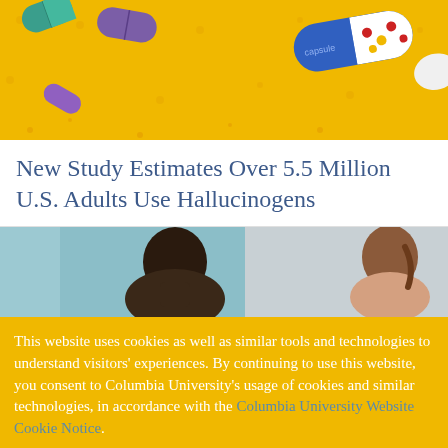[Figure (photo): Top banner image: yellow/orange background with colorful pharmaceutical pills and capsules — blue, purple, white, and red/yellow — arranged decoratively on a yellow textile-patterned background.]
New Study Estimates Over 5.5 Million U.S. Adults Use Hallucinogens
[Figure (photo): Photo of two women in conversation, partially visible. Left: dark-haired woman viewed from behind/side in a teal-lit setting. Right: braided auburn-haired woman facing left, partially cropped.]
This website uses cookies as well as similar tools and technologies to understand visitors' experiences. By continuing to use this website, you consent to Columbia University's usage of cookies and similar technologies, in accordance with the Columbia University Website Cookie Notice.
OK